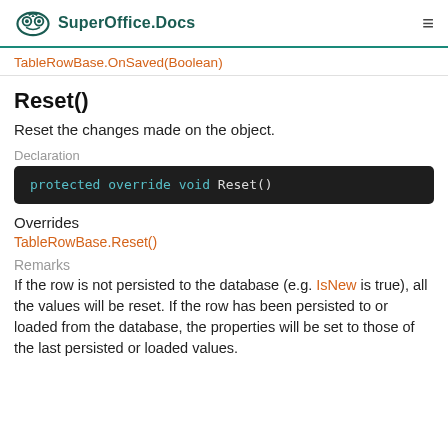SuperOffice.Docs
TableRowBase.OnSaved(Boolean)
Reset()
Reset the changes made on the object.
Declaration
Overrides
TableRowBase.Reset()
Remarks
If the row is not persisted to the database (e.g. IsNew is true), all the values will be reset. If the row has been persisted to or loaded from the database, the properties will be set to those of the last persisted or loaded values.